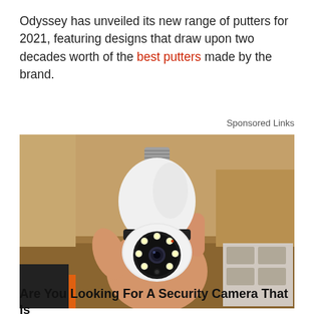Odyssey has unveiled its new range of putters for 2021, featuring designs that draw upon two decades worth of the best putters made by the brand.
Sponsored Links
[Figure (photo): A hand holding a white security camera shaped like a light bulb with LED lights visible on the front, photographed against a wooden shelf background.]
Are You Looking For A Security Camera That Is